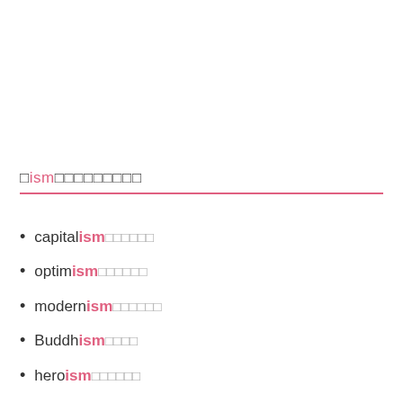ism
capitalism
optimism
modernism
Buddhism
heroism